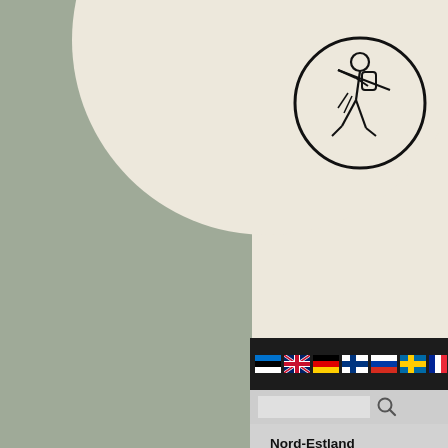[Figure (logo): Circular logo with illustration of a person carrying a backpack/walking, black line art on cream background]
[Figure (screenshot): Navigation bar with country flag icons (Estonian, UK, German, Finnish, Russian, Swedish, French flags) and partial text 'Fra...' on dark background]
[Figure (screenshot): Search bar with search icon on gray background]
Heliga martyren S kyrka i HarkujA
Nord-Estland
Tallinn
Harjumaa
Raplamaa
Järvamaa
Lääne-Virumaa
Ida-Virumaa
Väst-Estland
Pärnu
Pärnumaa
Läänomaa